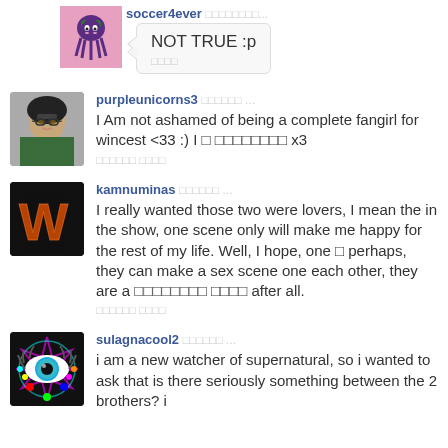soccer4ever □□□□□□□□... NOT TRUE :p □□□□
purpleunicorns3 □□□□□□ … I Am not ashamed of being a complete fangirl for wincest <33 :) I □ □□□□□□□□ x3 □□□□□□ □□□□
kamnuminas □□□□□□ … I really wanted those two were lovers, I mean the in the show, one scene only will make me happy for the rest of my life. Well, I hope, one □ perhaps, they can make a sex scene one each other, they are a □□□□□□□□ □□□□ after all. □□□□□□ □□□□
sulagnacool2 □□□□□□ … i am a new watcher of supernatural, so i wanted to ask that is there seriously something between the 2 brothers? i